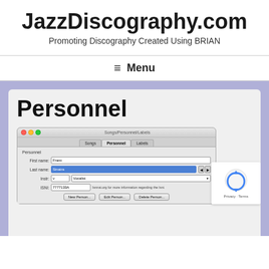JazzDiscography.com
Promoting Discography Created Using BRIAN
≡ Menu
Personnel
[Figure (screenshot): Screenshot of a macOS application window titled 'Songs/Personnel/Labels' showing a Personnel data entry form with fields for First name (Franc), Last name (Sinatra, highlighted in blue), Instr. (v, Vocalist), ISNI number, and three buttons: New Person, Edit Person, Delete Person. The window has three tabs: Songs, Personnel (active), and Labels.]